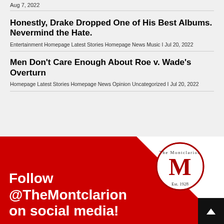Aug 7, 2022
Honestly, Drake Dropped One of His Best Albums. Nevermind the Hate.
Entertainment Homepage Latest Stories Homepage News Music I Jul 20, 2022
Men Don't Care Enough About Roe v. Wade's Overturn
Homepage Latest Stories Homepage News Opinion Uncategorized I Jul 20, 2022
[Figure (illustration): The Montclarion social media banner with red background, diagonal white stripe, The Montclarion logo circle (Est. 1928), and text 'Follow @TheMontclarion on social media!' in white bold font. Black back-to-top button in bottom right corner.]